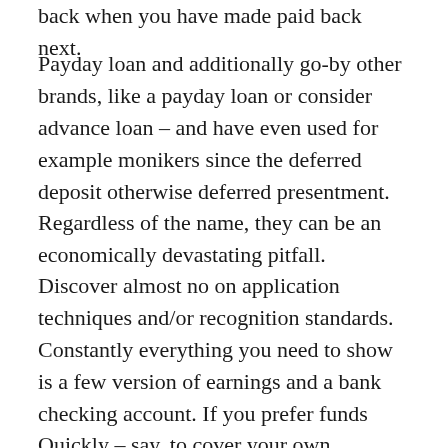back when you have made paid back next.
Payday loan and additionally go-by other brands, like a payday loan or consider advance loan – and have even used for example monikers since the deferred deposit otherwise deferred presentment. Regardless of the name, they can be an economically devastating pitfall.
Discover almost no on application techniques and/or recognition standards. Constantly everything you need to show is a few version of earnings and a bank checking account. If you prefer funds Quickly – say, to cover your own homeloan payment before your future paycheck comes in – this type of borrowing can appear extremely tempting as you may have it.